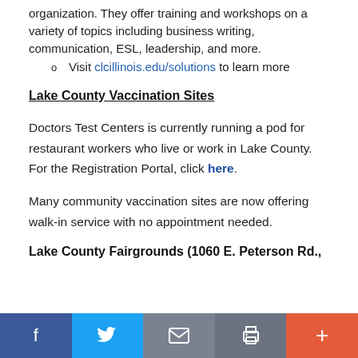organization. They offer training and workshops on a variety of topics including business writing, communication, ESL, leadership, and more.
Visit clcillinois.edu/solutions to learn more
Lake County Vaccination Sites
Doctors Test Centers is currently running a pod for restaurant workers who live or work in Lake County. For the Registration Portal, click here.
Many community vaccination sites are now offering walk-in service with no appointment needed.
Lake County Fairgrounds (1060 E. Peterson Rd.,